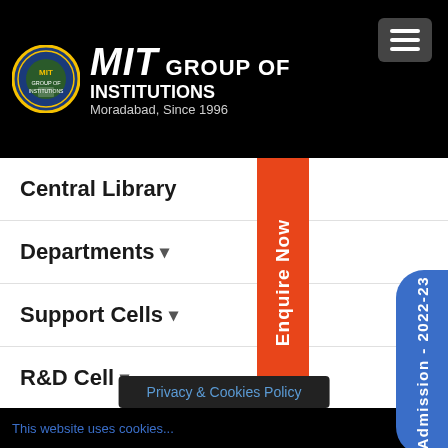[Figure (logo): MIT Group of Institutions logo with circular emblem and text]
Central Library
Departments ▾
Support Cells ▾
R&D Cell ▾
Video Lectures
Information Brochure
Our Eminents Visitors
Notices & Circulars
Enquire Now
Admission - 2022-23
Privacy & Cookies Policy